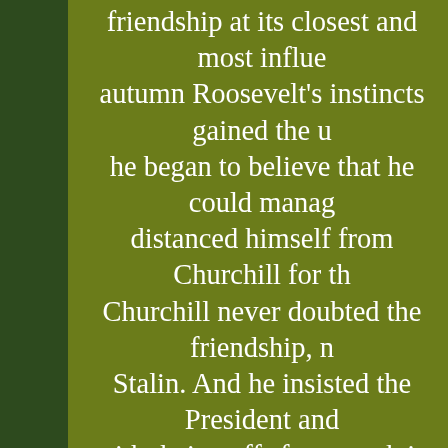friendship at its closest and most influential autumn Roosevelt's instincts gained the upper hand; he began to believe that he could manage Stalin and distanced himself from Churchill for the purpose. Churchill never doubted the friendship, nor did he Stalin. And he insisted the President and he meet with their staffs for a week in Cairo before the Teheran and the crucial five days with Stalin. The Prime Minister grew alarmed in case Stalin was charming the President, just as Roosevelt's close advisors had worried about Churchill's influence. All this is a lesson about their relationship - as the balance between the two allies changed with the course of the war, so did the special relationship.
Some two years later as the First Allied Armies prepared to land by parachute and glider a